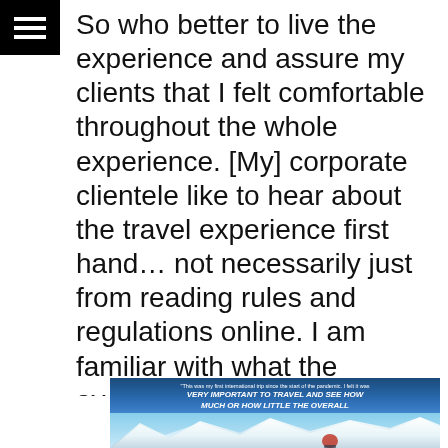So who better to live the experience and assure my clients that I felt comfortable throughout the whole experience. [My] corporate clientele like to hear about the travel experience first hand… not necessarily just from reading rules and regulations online. I am familiar with what the average day and week is like for a business traveller, so I can help them relate based on my own experience."
[Figure (photo): Photo of a person wearing a red cap and sunglasses with snowy mountain peaks in the background, overlaid with a quote about travelling during the pandemic.]